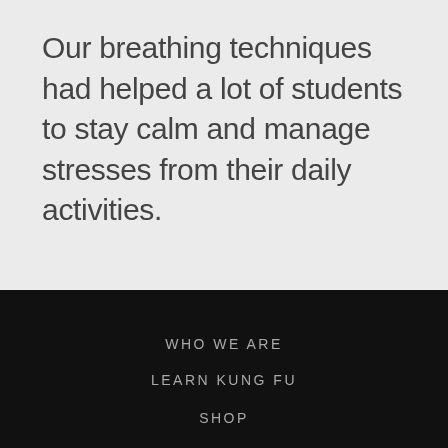Our breathing techniques had helped a lot of students to stay calm and manage stresses from their daily activities.
WHO WE ARE
LEARN KUNG FU
SHOP